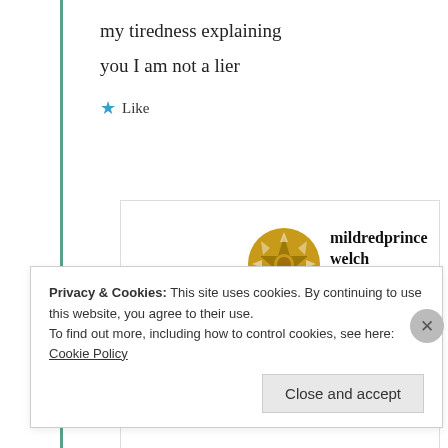my tiredness explaining
you I am not a lier
Like
mildredprince welch
11th Jul 2021 at 8:58 am
Privacy & Cookies: This site uses cookies. By continuing to use this website, you agree to their use.
To find out more, including how to control cookies, see here: Cookie Policy
Close and accept